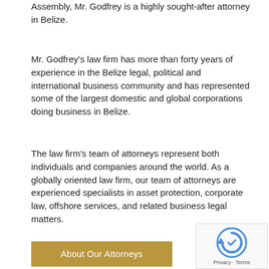Assembly, Mr. Godfrey is a highly sought-after attorney in Belize.
Mr. Godfrey’s law firm has more than forty years of experience in the Belize legal, political and international business community and has represented some of the largest domestic and global corporations doing business in Belize.
The law firm's team of attorneys represent both individuals and companies around the world. As a globally oriented law firm, our team of attorneys are experienced specialists in asset protection, corporate law, offshore services, and related business legal matters.
About Our Attorneys